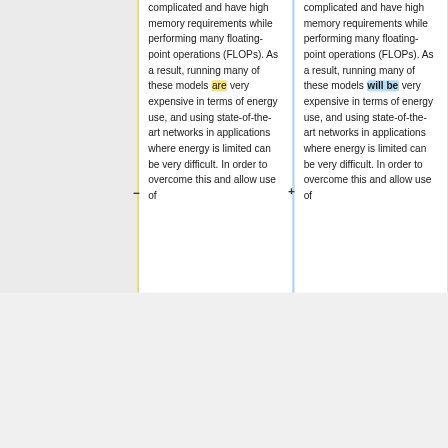complicated and have high memory requirements while performing many floating-point operations (FLOPs). As a result, running many of these models are very expensive in terms of energy use, and using state-of-the-art networks in applications where energy is limited can be very difficult. In order to overcome this and allow use of
complicated and have high memory requirements while performing many floating-point operations (FLOPs). As a result, running many of these models will be very expensive in terms of energy use, and using state-of-the-art networks in applications where energy is limited can be very difficult. In order to overcome this and allow use of